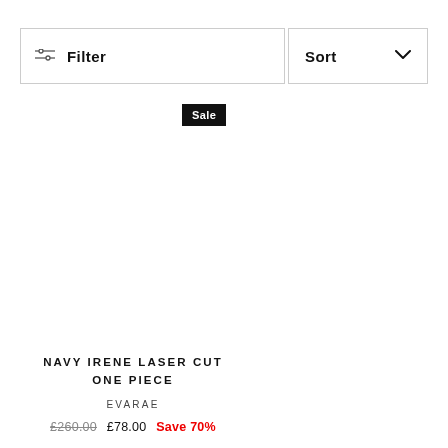Filter
Sort
Sale
NAVY IRENE LASER CUT ONE PIECE
EVARAE
£260.00  £78.00  Save 70%